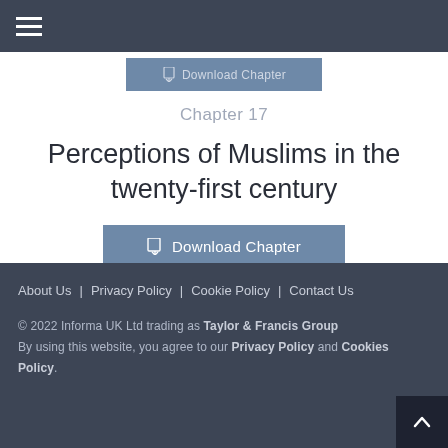Download Chapter (top button, partially visible)
Chapter 17
Perceptions of Muslims in the twenty-first century
Download Chapter
About Us | Privacy Policy | Cookie Policy | Contact Us
© 2022 Informa UK Ltd trading as Taylor & Francis Group
By using this website, you agree to our Privacy Policy and Cookies Policy.